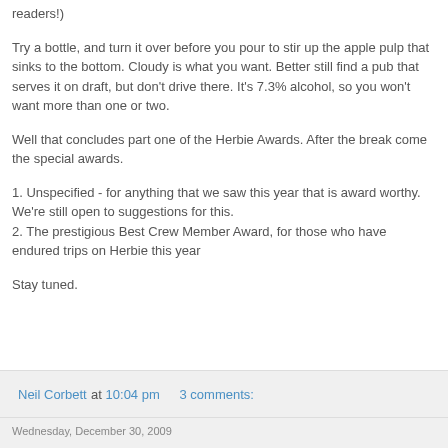readers!)
Try a bottle, and turn it over before you pour to stir up the apple pulp that sinks to the bottom. Cloudy is what you want. Better still find a pub that serves it on draft, but don't drive there. It's 7.3% alcohol, so you won't want more than one or two.
Well that concludes part one of the Herbie Awards. After the break come the special awards.
1. Unspecified - for anything that we saw this year that is award worthy. We're still open to suggestions for this.
2. The prestigious Best Crew Member Award, for those who have endured trips on Herbie this year
Stay tuned.
Neil Corbett at 10:04 pm   3 comments: